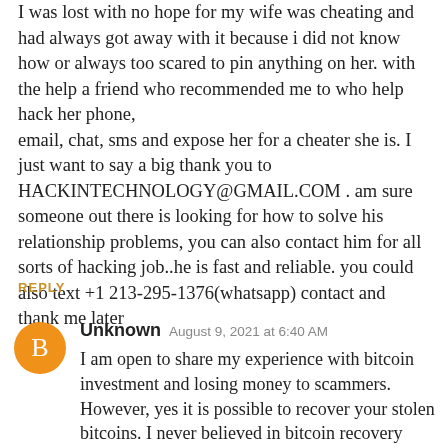I was lost with no hope for my wife was cheating and had always got away with it because i did not know how or always too scared to pin anything on her. with the help a friend who recommended me to who help hack her phone, email, chat, sms and expose her for a cheater she is. I just want to say a big thank you to HACKINTECHNOLOGY@GMAIL.COM . am sure someone out there is looking for how to solve his relationship problems, you can also contact him for all sorts of hacking job..he is fast and reliable. you could also text +1 213-295-1376(whatsapp) contact and thank me later
REPLY
Unknown  August 9, 2021 at 6:40 AM
I am open to share my experience with bitcoin investment and losing money to scammers. However, yes it is possible to recover your stolen bitcoins. I never believed in bitcoin recovery because I was made to understand that it was not possible. However, sometime in June I fell for a forex scam which promised